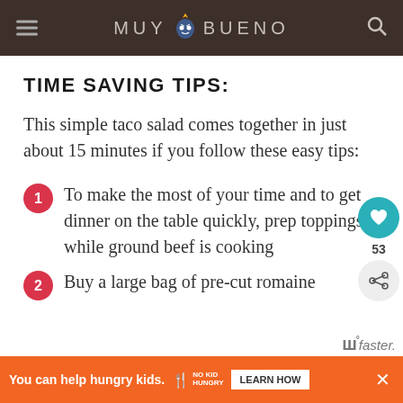MUY BUENO
TIME SAVING TIPS:
This simple taco salad comes together in just about 15 minutes if you follow these easy tips:
1. To make the most of your time and to get dinner on the table quickly, prep toppings while ground beef is cooking
2. Buy a large bag of pre-cut romaine